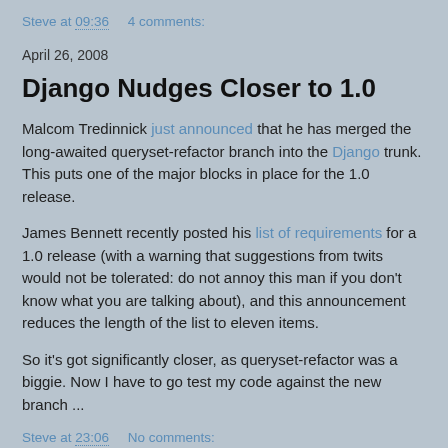Steve at 09:36    4 comments:
April 26, 2008
Django Nudges Closer to 1.0
Malcom Tredinnick just announced that he has merged the long-awaited queryset-refactor branch into the Django trunk. This puts one of the major blocks in place for the 1.0 release.
James Bennett recently posted his list of requirements for a 1.0 release (with a warning that suggestions from twits would not be tolerated: do not annoy this man if you don't know what you are talking about), and this announcement reduces the length of the list to eleven items.
So it's got significantly closer, as queryset-refactor was a biggie. Now I have to go test my code against the new branch ...
Steve at 23:06    No comments: